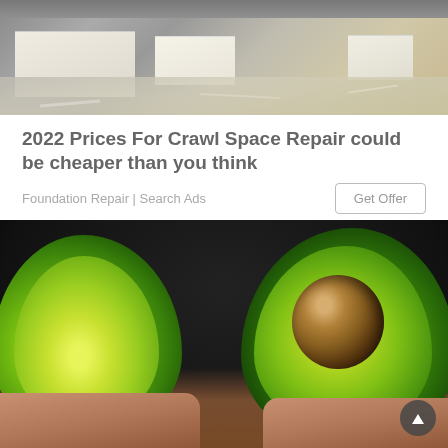[Figure (photo): A crawl space with plastic vapor barrier sheeting on the ground and foam insulation blocks, dimly lit interior]
2022 Prices For Crawl Space Repair could be cheaper than you think
Foundation Repair | Search Ads
[Figure (photo): Two halves of an avocado being held by hands, showing the green flesh and brown pit]